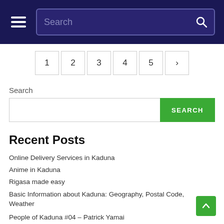Search
1 2 3 4 5 >
Search
SEARCH
Recent Posts
Online Delivery Services in Kaduna
Anime in Kaduna
Rigasa made easy
Basic Information about Kaduna: Geography, Postal Code, Weather
People of Kaduna #04 – Patrick Yamai